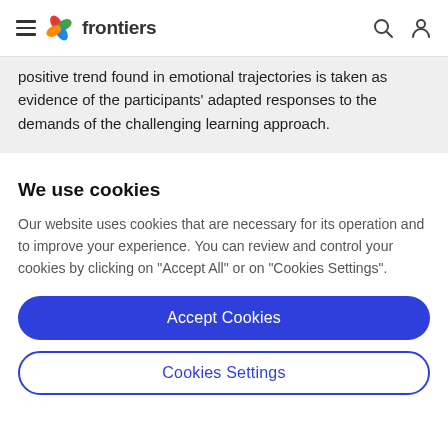frontiers
positive trend found in emotional trajectories is taken as evidence of the participants' adapted responses to the demands of the challenging learning approach.
We use cookies
Our website uses cookies that are necessary for its operation and to improve your experience. You can review and control your cookies by clicking on "Accept All" or on "Cookies Settings".
Accept Cookies
Cookies Settings